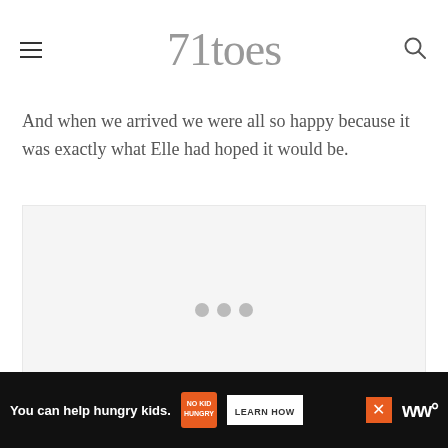71toes
And when we arrived we were all so happy because it was exactly what Elle had hoped it would be.
[Figure (other): Image placeholder with three grey dots in the center, light grey background]
You can help hungry kids. No Kid Hungry. LEARN HOW